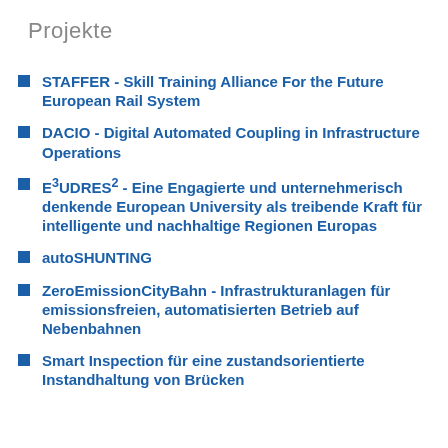Projekte
STAFFER - Skill Training Alliance For the Future European Rail System
DACIO - Digital Automated Coupling in Infrastructure Operations
E³UDRES² - Eine Engagierte und unternehmerisch denkende European University als treibende Kraft für intelligente und nachhaltige Regionen Europas
autoSHUNTING
ZeroEmissionCityBahn - Infrastrukturanlagen für emissionsfreien, automatisierten Betrieb auf Nebenbahnen
Smart Inspection für eine zustandsorientierte Instandhaltung von Brücken